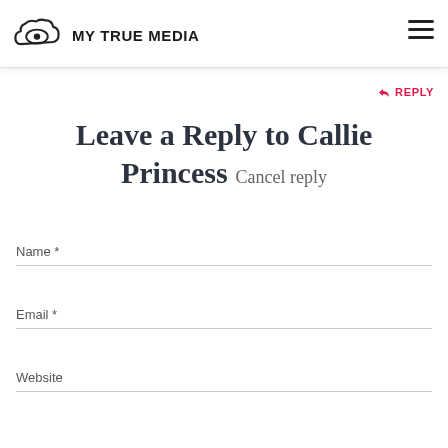My True Media
Kodi addons. I'm surprised I hadn't heard of it yet. ...cy is the name of the addon I'm digging on right now, too!
↩ REPLY
Leave a Reply to Callie Princess Cancel reply
Name *
Email *
Website